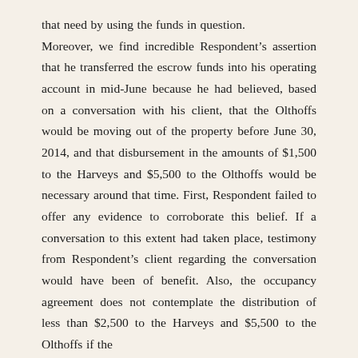that need by using the funds in question. Moreover, we find incredible Respondent's assertion that he transferred the escrow funds into his operating account in mid-June because he had believed, based on a conversation with his client, that the Olthoffs would be moving out of the property before June 30, 2014, and that disbursement in the amounts of $1,500 to the Harveys and $5,500 to the Olthoffs would be necessary around that time. First, Respondent failed to offer any evidence to corroborate this belief. If a conversation to this extent had taken place, testimony from Respondent's client regarding the conversation would have been of benefit. Also, the occupancy agreement does not contemplate the distribution of less than $2,500 to the Harveys and $5,500 to the Olthoffs if the